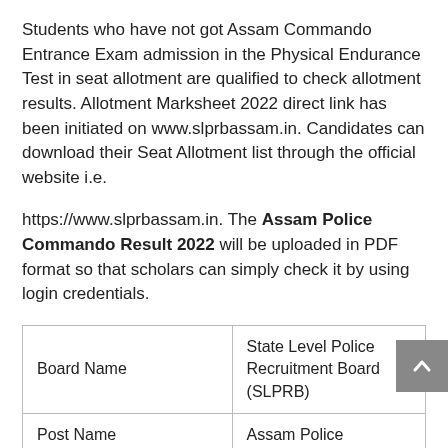Students who have not got Assam Commando Entrance Exam admission in the Physical Endurance Test in seat allotment are qualified to check allotment results. Allotment Marksheet 2022 direct link has been initiated on www.slprbassam.in. Candidates can download their Seat Allotment list through the official website i.e.
https://www.slprbassam.in. The Assam Police Commando Result 2022 will be uploaded in PDF format so that scholars can simply check it by using login credentials.
| Board Name | State Level Police Recruitment Board (SLPRB) |
| Post Name | Assam Police |